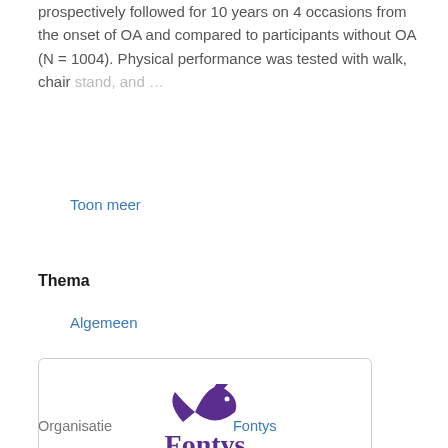prospectively followed for 10 years on 4 occasions from the onset of OA and compared to participants without OA (N = 1004). Physical performance was tested with walk, chair stand, and...
Toon meer
Thema
Algemeen
[Figure (logo): Fontys Hogescholen logo — purple bird/fish graphic above the word Fontys in purple serif font, with Hogescholen written below in smaller purple text]
Organisatie    Fontys